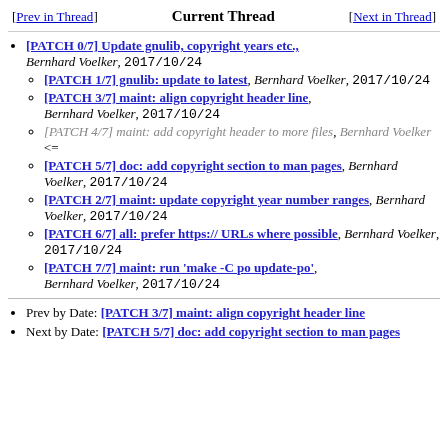[Prev in Thread]   Current Thread   [Next in Thread]
[PATCH 0/7] Update gnulib, copyright years etc., Bernhard Voelker, 2017/10/24
[PATCH 1/7] gnulib: update to latest, Bernhard Voelker, 2017/10/24
[PATCH 3/7] maint: align copyright header line, Bernhard Voelker, 2017/10/24
[PATCH 4/7] maint: add copyright header to more files, Bernhard Voelker <=
[PATCH 5/7] doc: add copyright section to man pages, Bernhard Voelker, 2017/10/24
[PATCH 2/7] maint: update copyright year number ranges, Bernhard Voelker, 2017/10/24
[PATCH 6/7] all: prefer https:// URLs where possible, Bernhard Voelker, 2017/10/24
[PATCH 7/7] maint: run 'make -C po update-po', Bernhard Voelker, 2017/10/24
Prev by Date: [PATCH 3/7] maint: align copyright header line
Next by Date: [PATCH 5/7] doc: add copyright section to man pages